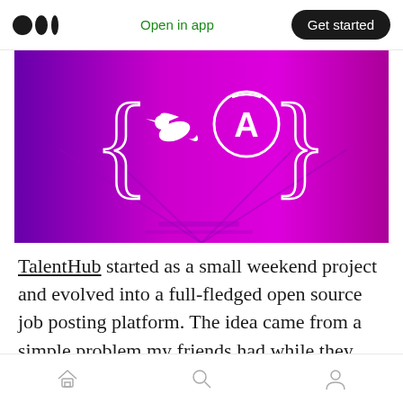Open in app  Get started
[Figure (illustration): Purple/magenta banner image with curly braces { } containing a white hummingbird logo and a white circled letter A logo, set against a tunnel/railway background with purple color overlay]
TalentHub started as a small weekend project and evolved into a full-fledged open source job posting platform. The idea came from a simple problem my friends had while they were looking for a job, which was a need for a clean, intuitive job board with location support. In the future, we
Home  Search  Profile